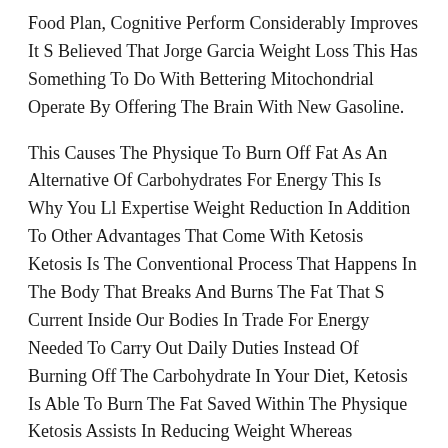Food Plan, Cognitive Perform Considerably Improves It S Believed That Jorge Garcia Weight Loss This Has Something To Do With Bettering Mitochondrial Operate By Offering The Brain With New Gasoline.
This Causes The Physique To Burn Off Fat As An Alternative Of Carbohydrates For Energy This Is Why You Ll Expertise Weight Reduction In Addition To Other Advantages That Come With Ketosis Ketosis Is The Conventional Process That Happens In The Body That Breaks And Burns The Fat That S Current Inside Our Bodies In Trade For Energy Needed To Carry Out Daily Duties Instead Of Burning Off The Carbohydrate In Your Diet, Ketosis Is Able To Burn The Fat Saved Within The Physique Ketosis Assists In Reducing Weight Whereas Eradicating Essential Carbs In Your Body.